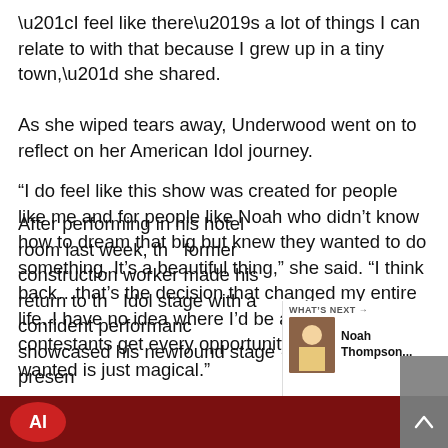“I feel like there’s a lot of things I can relate to with that because I grew up in a tiny town,” she shared.
As she wiped tears away, Underwood went on to reflect on her American Idol journey.
“I do feel like this show was created for people like me and for people like Noah who didn’t know how to dream that big but knew they wanted to do something. It’s a beautiful thing,” she said. “I think back…that’s the decision that changed my entire life. I have no idea where I’d be and to see contestants get every opportunity they’ve ever wanted is just magical.”
After performing in his hotel room last week, the former construction worker made his return to the Idol stage with a confident performance that showcased his newfound stage presence